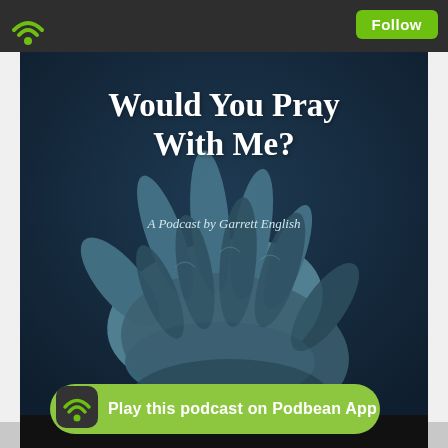Podbean app header with Follow button
[Figure (illustration): Podcast cover art for 'Would You Pray With Me? A Podcast by Garrett English' — dark navy blue background with two hands clasped together in prayer, tinted blue-grey. Title text overlaid in white serif font.]
Would You Pray With Me?
A Podcast by Garrett English
Play this podcast on Podbean App